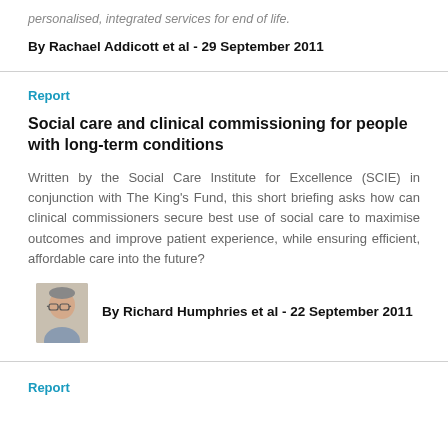personalised, integrated services for end of life.
By Rachael Addicott et al - 29 September 2011
Report
Social care and clinical commissioning for people with long-term conditions
Written by the Social Care Institute for Excellence (SCIE) in conjunction with The King's Fund, this short briefing asks how can clinical commissioners secure best use of social care to maximise outcomes and improve patient experience, while ensuring efficient, affordable care into the future?
By Richard Humphries et al - 22 September 2011
Report